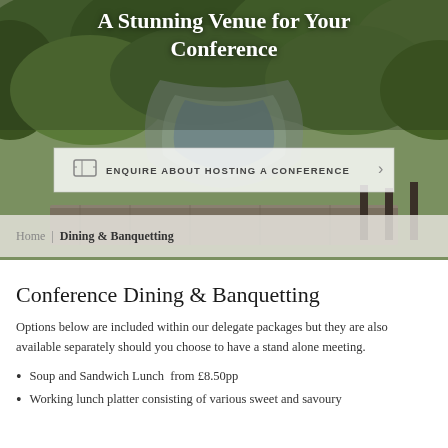[Figure (photo): Hero image of a scenic river/stream landscape with lush green trees and a stone bridge, with title text overlay 'A Stunning Venue for Your Conference']
A Stunning Venue for Your Conference
ENQUIRE ABOUT HOSTING A CONFERENCE
Home | Dining & Banquetting
Conference Dining & Banquetting
Options below are included within our delegate packages but they are also available separately should you choose to have a stand alone meeting.
Soup and Sandwich Lunch  from £8.50pp
Working lunch platter consisting of various sweet and savoury